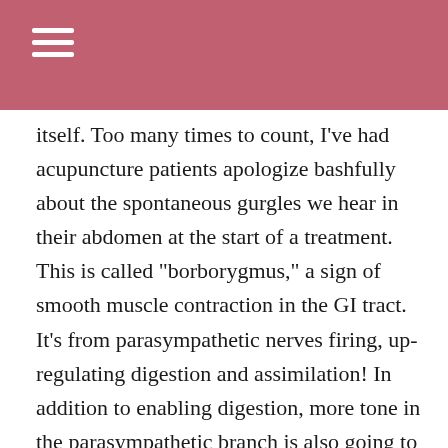itself. Too many times to count, I've had acupuncture patients apologize bashfully about the spontaneous gurgles we hear in their abdomen at the start of a treatment. This is called "borborygmus," a sign of smooth muscle contraction in the GI tract. It's from parasympathetic nerves firing, up-regulating digestion and assimilation! In addition to enabling digestion, more tone in the parasympathetic branch is also going to improve the body's tissue repair, immune health, quality of sleep, and hormonal balance, and will actually lower pain levels.
As we dial back the sympathetic branch I also get to watch as patients sigh or yawn a little as they begin to